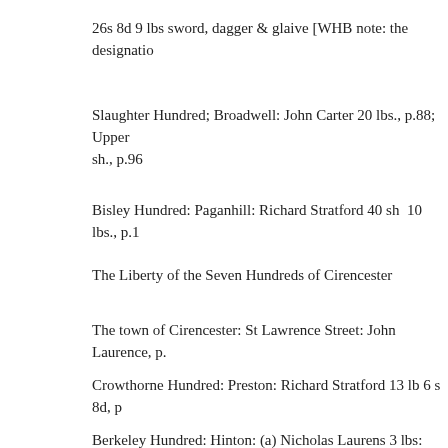26s 8d 9 lbs sword, dagger & glaive [WHB note: the designatio
Slaughter Hundred; Broadwell: John Carter 20 lbs., p.88; Upper sh., p.96
Bisley Hundred: Paganhill: Richard Stratford 40 sh  10 lbs., p.1
The Liberty of the Seven Hundreds of Cirencester
The town of Cirencester: St Lawrence Street: John Laurence, p.
Crowthorne Hundred: Preston: Richard Stratford 13 lb 6 s 8d, p
Berkeley Hundred: Hinton: (a) Nicholas Laurens 3 lbs: bows an
Tewkesbury Hundred; Oxenton: Robert Stratford: 5 lbs., p.167; there and the rectory is worth 26 lb. 13 s. 4d. The same John 3s. lb.; (a) John Stratford, p. 171; Church Stanway: John Laurans: 2 Stratford: 16 s.; Edward Straford: 40 s., p. 177